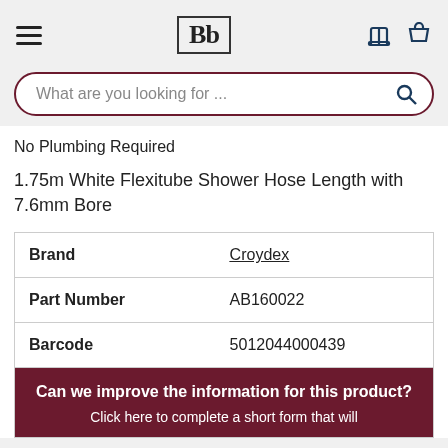Bb — What are you looking for ...
No Plumbing Required
1.75m White Flexitube Shower Hose Length with 7.6mm Bore
| Brand |  |
| --- | --- |
| Brand | Croydex |
| Part Number | AB160022 |
| Barcode | 5012044000439 |
Can we improve the information for this product? Click here to complete a short form that will